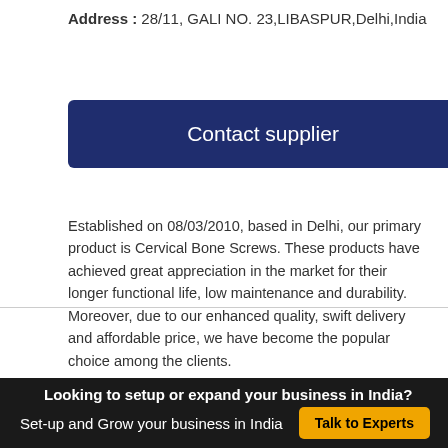Address : 28/11, GALI NO. 23,LIBASPUR,Delhi,India
Contact supplier
Established on 08/03/2010, based in Delhi, our primary product is Cervical Bone Screws. These products have achieved great appreciation in the market for their longer functional life, low maintenance and durability. Moreover, due to our enhanced quality, swift delivery and affordable price, we have become the popular choice among the clients.
Looking to setup or expand your business in India?
Set-up and Grow your business in India
Talk to Experts